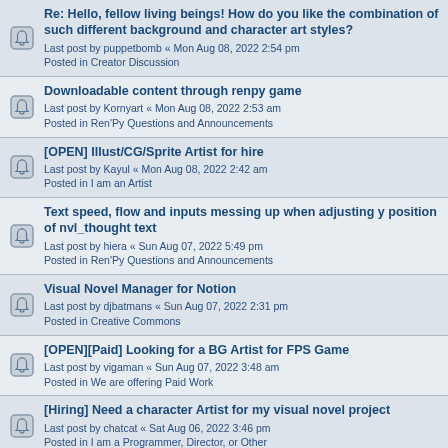Re: Hello, fellow living beings! How do you like the combination of such different background and character art styles?
Last post by puppetbomb « Mon Aug 08, 2022 2:54 pm
Posted in Creator Discussion
Downloadable content through renpy game
Last post by Kornyart « Mon Aug 08, 2022 2:53 am
Posted in Ren'Py Questions and Announcements
[OPEN] Illust/CG/Sprite Artist for hire
Last post by Kayul « Mon Aug 08, 2022 2:42 am
Posted in I am an Artist
Text speed, flow and inputs messing up when adjusting y position of nvl_thought text
Last post by hiera « Sun Aug 07, 2022 5:49 pm
Posted in Ren'Py Questions and Announcements
Visual Novel Manager for Notion
Last post by djbatmans « Sun Aug 07, 2022 2:31 pm
Posted in Creative Commons
[OPEN][Paid] Looking for a BG Artist for FPS Game
Last post by vigaman « Sun Aug 07, 2022 3:48 am
Posted in We are offering Paid Work
[Hiring] Need a character Artist for my visual novel project
Last post by chatcat « Sat Aug 06, 2022 3:46 pm
Posted in I am a Programmer, Director, or Other
Gamepad/Controller Virtual Mouse-like cursor possible?
Last post by OverClock « Sat Aug 06, 2022 12:09 pm
Posted in Ren'Py Questions and Announcements
Trapped with Jester [O2A2][Amare][Comedy][Otome?]